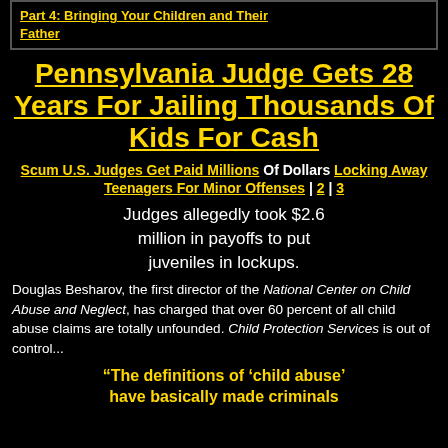Part 4: Bringing Your Children and Their Father
Pennsylvania Judge Gets 28 Years For Jailing Thousands Of Kids For Cash
Scum U.S. Judges Get Paid Millions Of Dollars Locking Away Teenagers For Minor Offenses | 2 | 3
Judges allegedly took $2.6 million in payoffs to put juveniles in lockups.
Douglas Besharov, the first director of the National Center on Child Abuse and Neglect, has charged that over 60 percent of all child abuse claims are totally unfounded. Child Protection Services is out of control...
“The definitions of 'child abuse' have basically made criminals